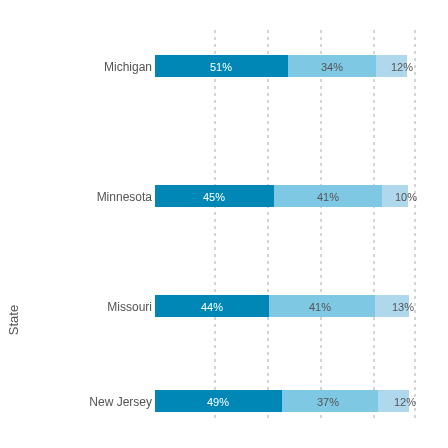[Figure (stacked-bar-chart): State]